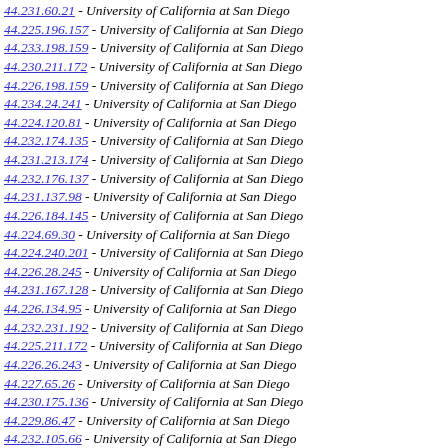44.231.60.21 - University of California at San Diego
44.225.196.157 - University of California at San Diego
44.233.198.159 - University of California at San Diego
44.230.211.172 - University of California at San Diego
44.226.198.159 - University of California at San Diego
44.234.24.241 - University of California at San Diego
44.224.120.81 - University of California at San Diego
44.232.174.135 - University of California at San Diego
44.231.213.174 - University of California at San Diego
44.232.176.137 - University of California at San Diego
44.231.137.98 - University of California at San Diego
44.226.184.145 - University of California at San Diego
44.224.69.30 - University of California at San Diego
44.224.240.201 - University of California at San Diego
44.226.28.245 - University of California at San Diego
44.231.167.128 - University of California at San Diego
44.226.134.95 - University of California at San Diego
44.232.231.192 - University of California at San Diego
44.225.211.172 - University of California at San Diego
44.226.26.243 - University of California at San Diego
44.227.65.26 - University of California at San Diego
44.230.175.136 - University of California at San Diego
44.229.86.47 - University of California at San Diego
44.232.105.66 - University of California at San Diego
44.225.167.128 - University of California at San Diego
44.229.31.248 - University of California at San Diego
44.228.141.102 - University of California at San Diego
44.231.32.249 - University of California at San Diego
44.232.183.144 - University of California at San Diego
44.227.143.104 - University of California at San Diego